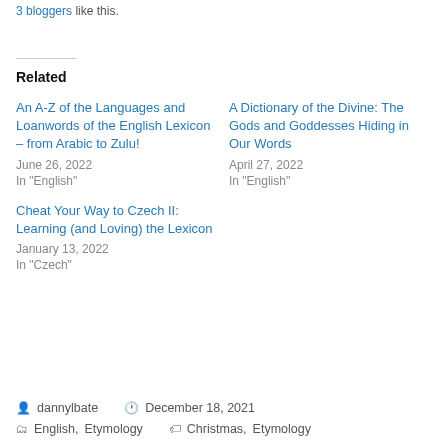3 bloggers like this.
Related
An A-Z of the Languages and Loanwords of the English Lexicon – from Arabic to Zulu!
June 26, 2022
In "English"
A Dictionary of the Divine: The Gods and Goddesses Hiding in Our Words
April 27, 2022
In "English"
Cheat Your Way to Czech II: Learning (and Loving) the Lexicon
January 13, 2022
In "Czech"
dannylbate   December 18, 2021
English, Etymology   Christmas, Etymology